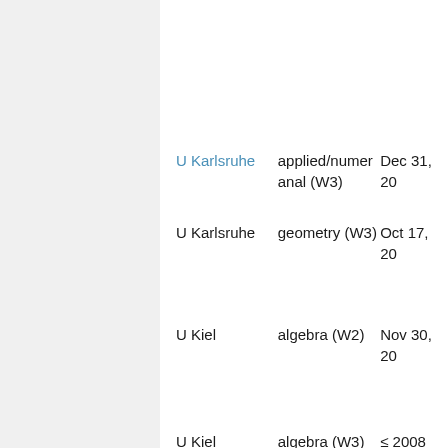| U Karlsruhe | applied/numer anal (W3) | Dec 31, 20... |
| U Karlsruhe | geometry (W3) | Oct 17, 20... |
| U Kiel | algebra (W2) | Nov 30, 20... |
| U Kiel | algebra (W3) | ≤ 2008 |